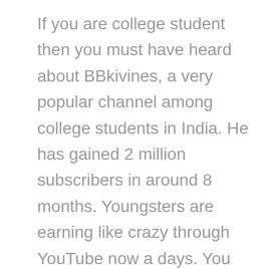If you are college student then you must have heard about BBkivines, a very popular channel among college students in India. He has gained 2 million subscribers in around 8 months. Youngsters are earning like crazy through YouTube now a days. You can create your channel related to anything, like information based, teaching, funny pranks and jokes. Create engaging content and visitors will love watching and sharing your videos. More video views = more money in your pocket.